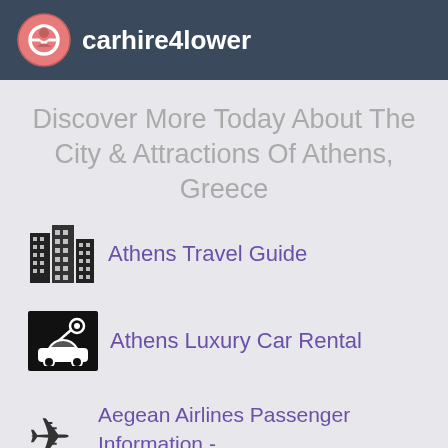carhire4lower
Discover More Today About The City & Attractions Of Athens, Greece
Athens Travel Guide
Athens Luxury Car Rental
Aegean Airlines Passenger Information - Athens Airport ATH